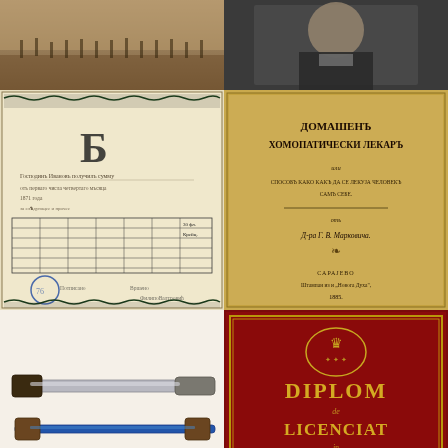[Figure (photo): Historical sepia photograph of a group of people in an outdoor setting, possibly a military or historical scene]
[Figure (photo): Black and white portrait photograph of a seated man in formal 19th century attire]
[Figure (photo): Historical document - an old certificate or bond with ornate border decorations, Cyrillic text, a table/chart section, and an official stamp]
[Figure (photo): Old book cover with Cyrillic text reading 'Домашен Хомопатически Лекар' (Home Homeopathic Doctor) by Д-р Г. В. Марковича, published in Sarajevo 1885]
[Figure (photo): Antique medical/surgical instruments - two elongated metal tools or splints with wooden ends, photographed on white background]
[Figure (photo): Red book cover with gold ornamental text reading 'DIPLOM DE LICENCIAT IN MEDICINA' with a gold star at bottom, name 'Ilaie Pandoff' inscribed]
[Figure (photo): Partial view of a historical black and white portrait photograph at bottom left]
[Figure (photo): Partial view of another historical black and white portrait photograph at bottom right]